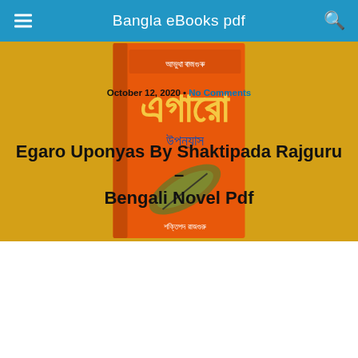Bangla eBooks pdf
October 12, 2020 • No Comments
Egaro Uponyas By Shaktipada Rajguru – Bengali Novel Pdf
[Figure (photo): Orange book cover of Egaro Uponyas by Shaktipada Rajguru, a Bengali novel, with Bengali text and an illustration.]